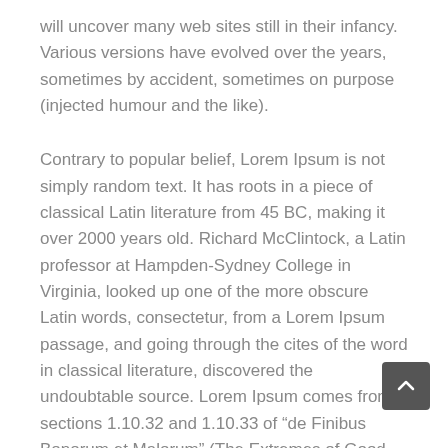will uncover many web sites still in their infancy. Various versions have evolved over the years, sometimes by accident, sometimes on purpose (injected humour and the like).
Contrary to popular belief, Lorem Ipsum is not simply random text. It has roots in a piece of classical Latin literature from 45 BC, making it over 2000 years old. Richard McClintock, a Latin professor at Hampden-Sydney College in Virginia, looked up one of the more obscure Latin words, consectetur, from a Lorem Ipsum passage, and going through the cites of the word in classical literature, discovered the undoubtable source. Lorem Ipsum comes from sections 1.10.32 and 1.10.33 of “de Finibus Bonorum et Malorum” (The Extremes of Good and Evil) by Cicero, written in 45 BC. This book is a treatise on the theory of ethics, very popular during the Renaissance. The first line of Lorem Ipsum comes